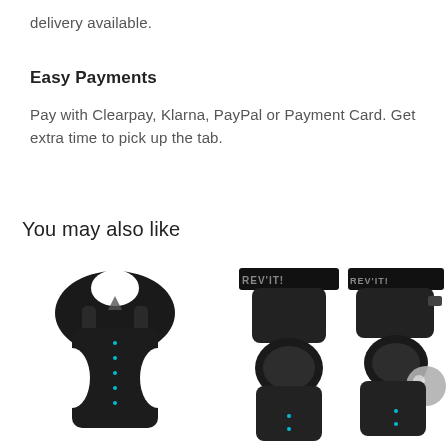delivery available.
Easy Payments
Pay with Clearpay, Klarna, PayPal or Payment Card. Get extra time to pick up the tab.
You may also like
[Figure (photo): Three motorcycle protective gear items: a back protector vest on the left, a knee guard in the center, and another knee/leg protector on the right. All items are black with REV'IT branding.]